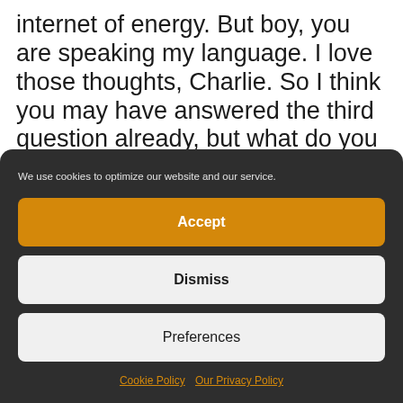internet of energy. But boy, you are speaking my language. I love those thoughts, Charlie. So I think you may have answered the third question already, but what do you think will be the single most important change in how we generate store and distribute electricity in the next five years?
We use cookies to optimize our website and our service.
Accept
Dismiss
Preferences
Cookie Policy  Our Privacy Policy